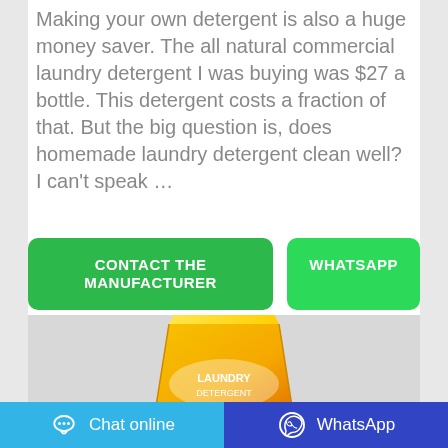Making your own detergent is also a huge money saver. The all natural commercial laundry detergent I was buying was $27 a bottle. This detergent costs a fraction of that. But the big question is, does homemade laundry detergent clean well? I can't speak …
CONTACT THE MANUFACTURER
WHATSAPP
[Figure (photo): Yellow laundry detergent powder bag on a grey background]
Chat online
WhatsApp